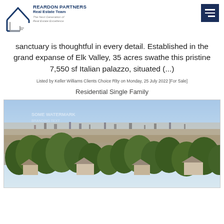REARDON PARTNERS Real Estate Team — The Next Generation of Real Estate Excellence
sanctuary is thoughtful in every detail. Established in the grand expanse of Elk Valley, 35 acres swathe this pristine 7,550 sf Italian palazzo, situated (...)
Listed by Keller Williams Clients Choice Rlty on Monday, 25 July 2022 [For Sale]
Residential Single Family
[Figure (photo): Aerial drone photo of a residential neighborhood with large trees, houses with stone/shingle roofs, and a wide panoramic view of a city in the background under a clear sky.]